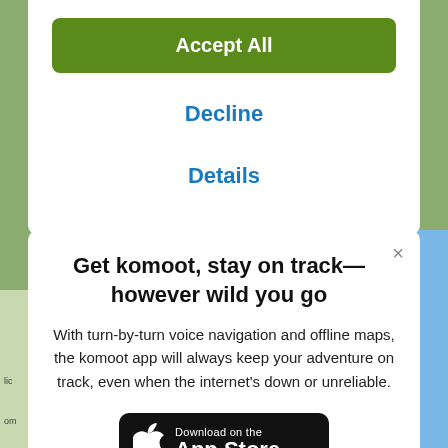Accept All
Decline
Details
Get komoot, stay on track—however wild you go
With turn-by-turn voice navigation and offline maps, the komoot app will always keep your adventure on track, even when the internet's down or unreliable.
[Figure (screenshot): Download on the App Store button (black rounded rectangle with Apple logo)]